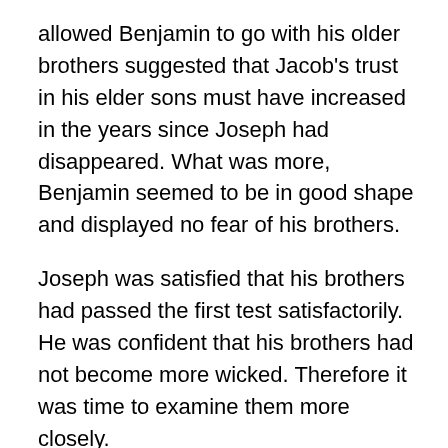allowed Benjamin to go with his older brothers suggested that Jacob's trust in his elder sons must have increased in the years since Joseph had disappeared. What was more, Benjamin seemed to be in good shape and displayed no fear of his brothers.
Joseph was satisfied that his brothers had passed the first test satisfactorily. He was confident that his brothers had not become more wicked. Therefore it was time to examine them more closely.
The brothers were aghast that the spotlight was on them again! By instructing them all to dine with him, Joseph was shrewdly intensifying their anxiety without actually hurting them.
As soon as they had opportunity, the older brothers